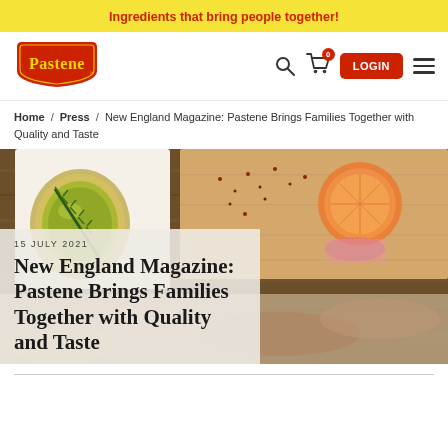Ingredients that bring people together!
[Figure (logo): Pastene brand logo - red shield shape with yellow text]
Home / Press / New England Magazine: Pastene Brings Families Together with Quality and Taste
[Figure (photo): Food ingredients on wooden board - olive oil, rosemary, orange slice, spices]
15 JULY 2021
New England Magazine: Pastene Brings Families Together with Quality and Taste